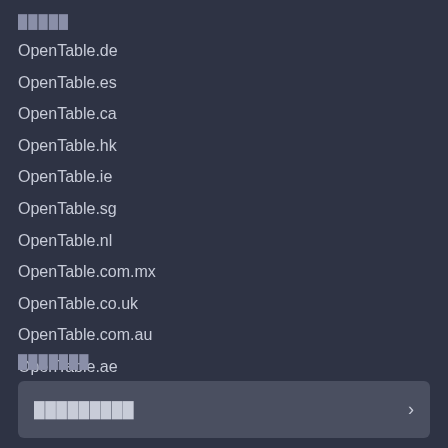█████
OpenTable.de
OpenTable.es
OpenTable.ca
OpenTable.hk
OpenTable.ie
OpenTable.sg
OpenTable.nl
OpenTable.com.mx
OpenTable.co.uk
OpenTable.com.au
OpenTable.ae
OpenTable.co.th
OpenTable.it
███████
█████████████